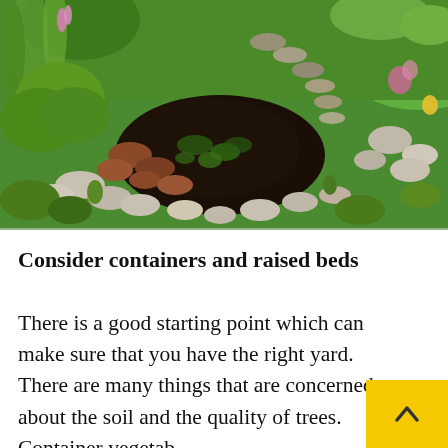[Figure (photo): Garden pond surrounded by stones, stepping stone path, lush green plants and flowers]
Consider containers and raised beds
There is a good starting point which can make sure that you have the right yard. There are many things that are concerned about the soil and the quality of trees. Container vegetab...